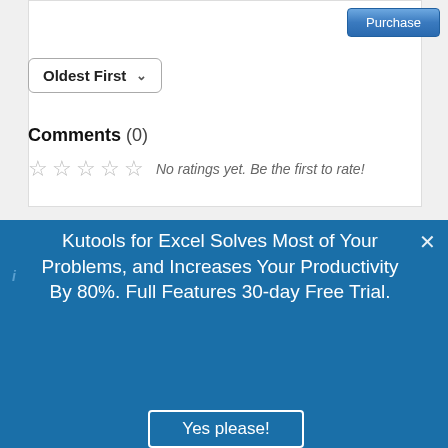Purchase
Oldest First
Comments (0)
No ratings yet. Be the first to rate!
Kutools for Excel Solves Most of Your Problems, and Increases Your Productivity By 80%. Full Features 30-day Free Trial.
Yes please!